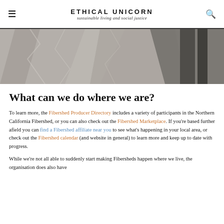ETHICAL UNICORN — sustainable living and social justice
[Figure (photo): Close-up photograph of crumpled fabric or textile draped over a dark surface, in muted grey tones]
What can we do where we are?
To learn more, the Fibershed Producer Directory includes a variety of participants in the Northern California Fibershed, or you can also check out the Fibershed Marketplace. If you're based further afield you can find a Fibershed affiliate near you to see what's happening in your local area, or check out the Fibershed calendar (and website in general) to learn more and keep up to date with progress.
While we're not all able to suddenly start making Fibersheds happen where we live, the organisation does also have